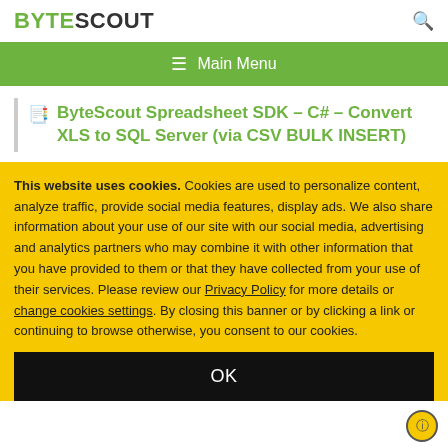BYTESCOUT
ByteScout Spreadsheet SDK – C# – Convert XLS to SQL Server (via CSV BULK INSERT)
This website uses cookies. Cookies are used to personalize content, analyze traffic, provide social media features, display ads. We also share information about your use of our site with our social media, advertising and analytics partners who may combine it with other information that you have provided to them or that they have collected from your use of their services. Please review our Privacy Policy for more details or change cookies settings. By closing this banner or by clicking a link or continuing to browse otherwise, you consent to our cookies.
OK